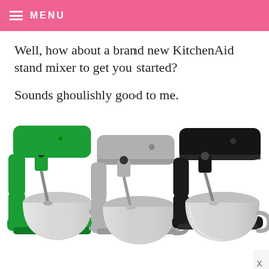≡ MENU
Well, how about a brand new KitchenAid stand mixer to get you started?
Sounds ghoulishly good to me.
[Figure (photo): Three KitchenAid stand mixers side by side: Canopy Green, Contour Silver, and Onyx Black, each with a stainless steel bowl]
CANOPY GREEN   CONTOUR SILVER   ONYX BLACK